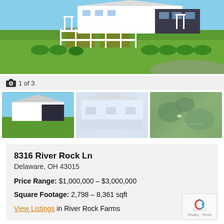[Figure (photo): Aerial view of a large white and dark farmhouse-style home with manicured gardens, white picket fence, and green lawn]
1 of 3
[Figure (photo): Three thumbnail images of the property: front view of white and dark house, side/porch view, and aerial landscape view]
8316 River Rock Ln
Delaware, OH 43015
Price Range: $1,000,000 – $3,000,000
Square Footage: 2,798 – 8,361 sqft
View Listings in River Rock Farms